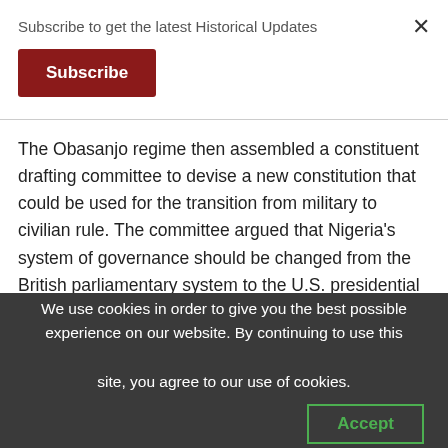Subscribe to get the latest Historical Updates
Subscribe
The Obasanjo regime then assembled a constituent drafting committee to devise a new constitution that could be used for the transition from military to civilian rule. The committee argued that Nigeria’s system of governance should be changed from the British parliamentary system to the U.S. presidential system.
However, in order for the president not to become a
We use cookies in order to give you the best possible experience on our website. By continuing to use this site, you agree to our use of cookies.
Accept